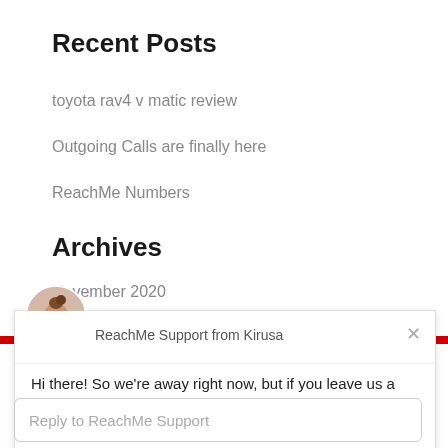Recent Posts
toyota rav4 v matic review
Outgoing Calls are finally here
ReachMe Numbers
Archives
November 2020
r 2018
ReachMe Support from Kirusa
Hi there! So we're away right now, but if you leave us a message we'll get back to you soon.
Reply to ReachMe Support
Chat ⚡ by Drift